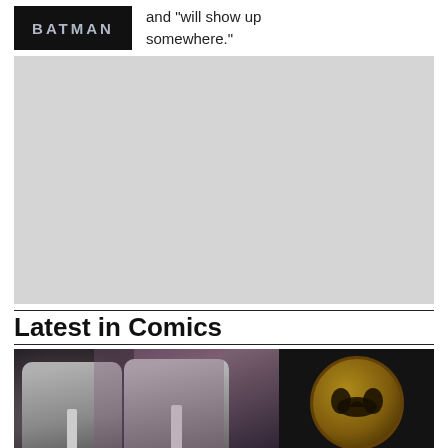[Figure (illustration): Batman logo/title image on dark background]
and "will show up somewhere."
[Figure (other): Large light gray advertisement/placeholder block]
Latest in Comics
[Figure (photo): Comic book images showing suited figures and a bat emblem on gold/dark background]